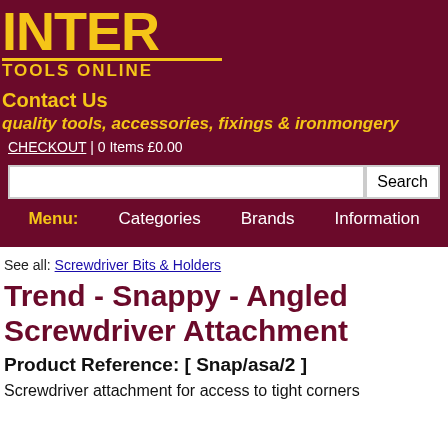[Figure (logo): INTER TOOLS ONLINE logo with yellow text on dark maroon background, with horizontal line decoration]
Contact Us
quality tools, accessories, fixings & ironmongery
CHECKOUT | 0 Items £0.00
Menu: Categories Brands Information
See all: Screwdriver Bits & Holders
Trend - Snappy - Angled Screwdriver Attachment
Product Reference: [ Snap/asa/2 ]
Screwdriver attachment for access to tight corners